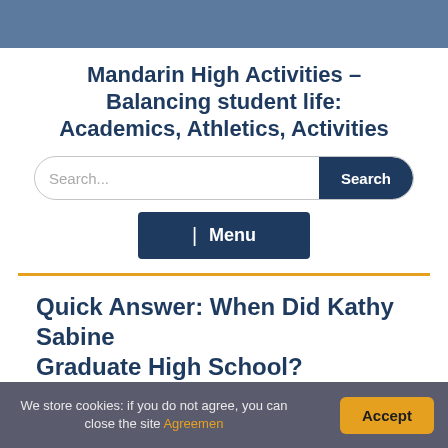Mandarin High Activities – Balancing student life: Academics, Athletics, Activities
Search...
Quick Answer: When Did Kathy Sabine Graduate High School?
We store cookies: if you do not agree, you can close the site Agreemen